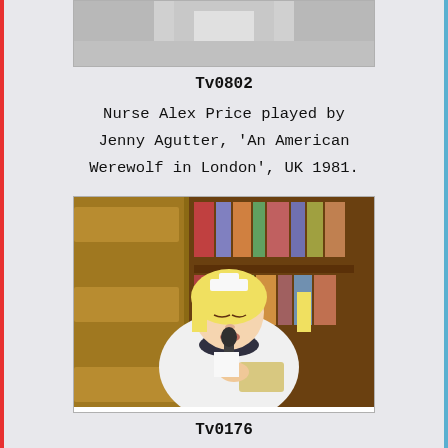[Figure (photo): Partial top image, cropped, showing lower portion of a figure in white/grey tones]
Tv0802
Nurse Alex Price played by Jenny Agutter, 'An American Werewolf in London', UK 1981.
[Figure (photo): A blonde woman in a nurse uniform with a nurse cap, speaking into a microphone, reading from a card, seated near wooden shelving/drawers with books behind her]
Tv0176